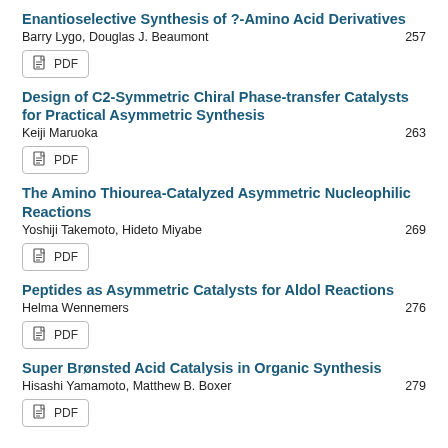Enantioselective Synthesis of ?-Amino Acid Derivatives
Barry Lygo, Douglas J. Beaumont    257
[Figure (other): PDF download button]
Design of C2-Symmetric Chiral Phase-transfer Catalysts for Practical Asymmetric Synthesis
Keiji Maruoka    263
[Figure (other): PDF download button]
The Amino Thiourea-Catalyzed Asymmetric Nucleophilic Reactions
Yoshiji Takemoto, Hideto Miyabe    269
[Figure (other): PDF download button]
Peptides as Asymmetric Catalysts for Aldol Reactions
Helma Wennemers    276
[Figure (other): PDF download button]
Super Brønsted Acid Catalysis in Organic Synthesis
Hisashi Yamamoto, Matthew B. Boxer    279